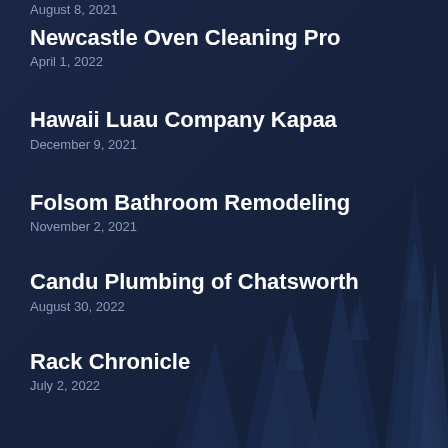August 8, 2021
Newcastle Oven Cleaning Pro
April 1, 2022
Hawaii Luau Company Kapaa
December 9, 2021
Folsom Bathroom Remodeling
November 2, 2021
Candu Plumbing of Chatsworth
August 30, 2022
Rack Chronicle
July 2, 2022